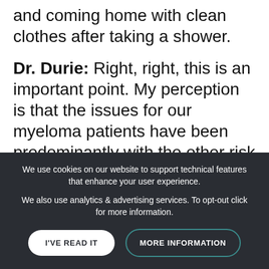and coming home with clean clothes after taking a shower.
Dr. Durie: Right, right, this is an important point. My perception is that the issues for our myeloma patients have been predominantly with the other risk groups and risk factors. Patients who have
We use cookies on our website to support technical features that enhance your user experience.

We also use analytics & advertising services. To opt-out click for more information.